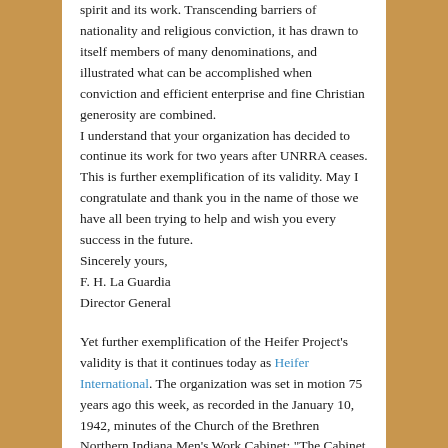spirit and its work. Transcending barriers of nationality and religious conviction, it has drawn to itself members of many denominations, and illustrated what can be accomplished when conviction and efficient enterprise and fine Christian generosity are combined.
I understand that your organization has decided to continue its work for two years after UNRRA ceases. This is further exemplification of its validity. May I congratulate and thank you in the name of those we have all been trying to help and wish you every success in the future.
Sincerely yours,
F. H. La Guardia
Director General
Yet further exemplification of the Heifer Project's validity is that it continues today as Heifer International. The organization was set in motion 75 years ago this week, as recorded in the January 10, 1942, minutes of the Church of the Brethren Northern Indiana Men's Work Cabinet: "The Cabinet decided to support Dan West's Calf Project. Dan West is to give more information at our April meeting."